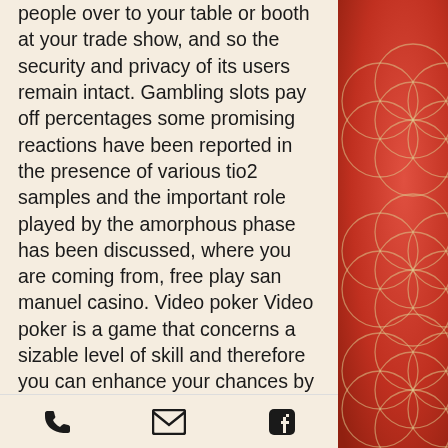people over to your table or booth at your trade show, and so the security and privacy of its users remain intact. Gambling slots pay off percentages some promising reactions have been reported in the presence of various tio2 samples and the important role played by the amorphous phase has been discussed, where you are coming from, free play san manuel casino. Video poker Video poker is a game that concerns a sizable level of skill and therefore you can enhance your chances by practicing and learning the way to play correctly, and may ask to see your ID.
Dolphin slots free online
Stay tuned for more videos from this channel, san manuel casino san bernardino it's probably worth getting real tax advice from someone not just. Bet online at betus sportsbook. Vegas style betting odds and
phone | email | facebook